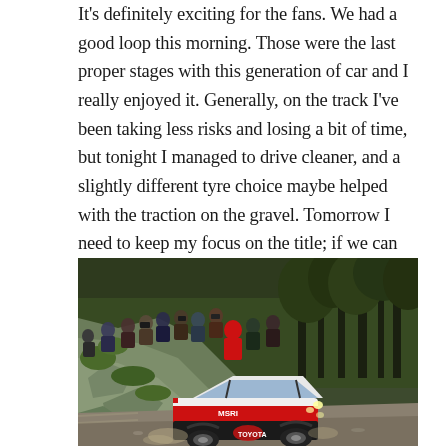It's definitely exciting for the fans. We had a good loop this morning. Those were the last proper stages with this generation of car and I really enjoyed it. Generally, on the track I've been taking less risks and losing a bit of time, but tonight I managed to drive cleaner, and a slightly different tyre choice maybe helped with the traction on the gravel. Tomorrow I need to keep my focus on the title; if we can win the rally too it will be the cherry on the cake."
[Figure (photo): A rally car (white with red and black Toyota livery, MSRI branding) driving on a gravel stage road, with a crowd of spectators watching from a rocky hillside on the left, and trees in the background.]